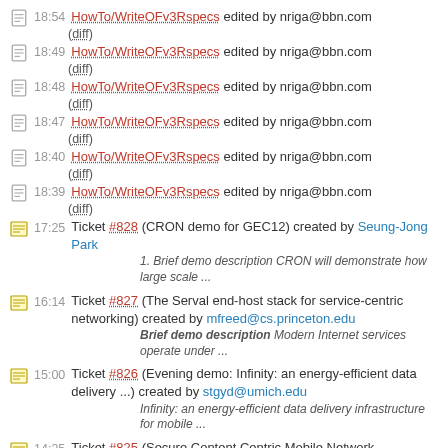18:54 HowTo/WriteOFv3Rspecs edited by nriga@bbn.com (diff)
18:49 HowTo/WriteOFv3Rspecs edited by nriga@bbn.com (diff)
18:48 HowTo/WriteOFv3Rspecs edited by nriga@bbn.com (diff)
18:47 HowTo/WriteOFv3Rspecs edited by nriga@bbn.com (diff)
18:40 HowTo/WriteOFv3Rspecs edited by nriga@bbn.com (diff)
18:39 HowTo/WriteOFv3Rspecs edited by nriga@bbn.com (diff)
17:25 Ticket #828 (CRON demo for GEC12) created by Seung-Jong Park
1. Brief demo description CRON will demonstrate how large scale ...
16:14 Ticket #827 (The Serval end-host stack for service-centric networking) created by mfreed@cs.princeton.edu
Brief demo description Modern Internet services operate under ...
15:00 Ticket #826 (Evening demo: Infinity: an energy-efficient data delivery ...) created by stgyd@umich.edu
Infinity: an energy-efficient data delivery infrastructure for mobile ...
14:25 Ticket #825 (Secure Content Centric Mobile Network ...